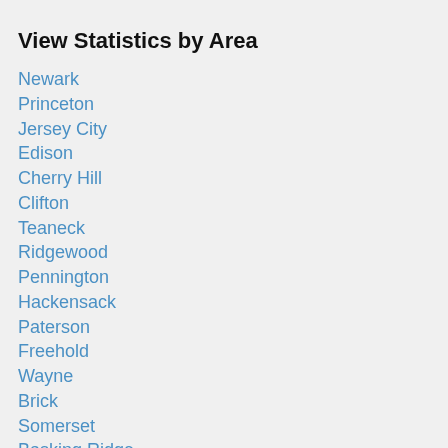View Statistics by Area
Newark
Princeton
Jersey City
Edison
Cherry Hill
Clifton
Teaneck
Ridgewood
Pennington
Hackensack
Paterson
Freehold
Wayne
Brick
Somerset
Basking Ridge
Florham Park
Elizabeth
Fort Lee